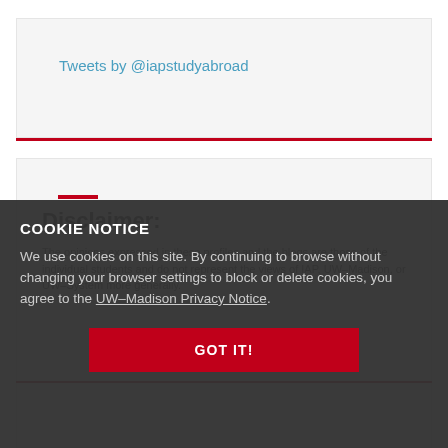Tweets by @iapstudyabroad
Disclaimer:
The opinions expressed in these profiles and the blogs are those of the individual students and do not represent the views of IAP, UW–Madison, or UW–System more generally.
COOKIE NOTICE
We use cookies on this site. By continuing to browse without changing your browser settings to block or delete cookies, you agree to the UW–Madison Privacy Notice.
GOT IT!